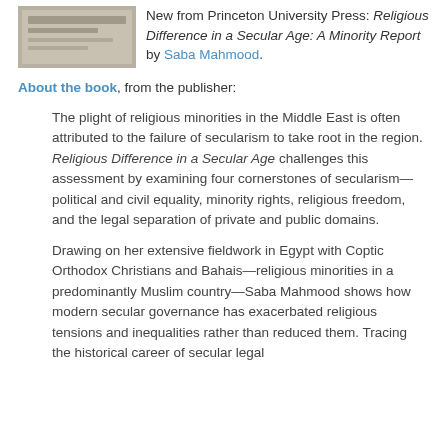[Figure (photo): Book cover image for 'Religious Difference in a Secular Age: A Minority Report' by Saba Mahmood, shown partially at top left]
New from Princeton University Press: Religious Difference in a Secular Age: A Minority Report by Saba Mahmood.
About the book, from the publisher:
The plight of religious minorities in the Middle East is often attributed to the failure of secularism to take root in the region. Religious Difference in a Secular Age challenges this assessment by examining four cornerstones of secularism—political and civil equality, minority rights, religious freedom, and the legal separation of private and public domains.
Drawing on her extensive fieldwork in Egypt with Coptic Orthodox Christians and Bahais—religious minorities in a predominantly Muslim country—Saba Mahmood shows how modern secular governance has exacerbated religious tensions and inequalities rather than reduced them. Tracing the historical career of secular legal